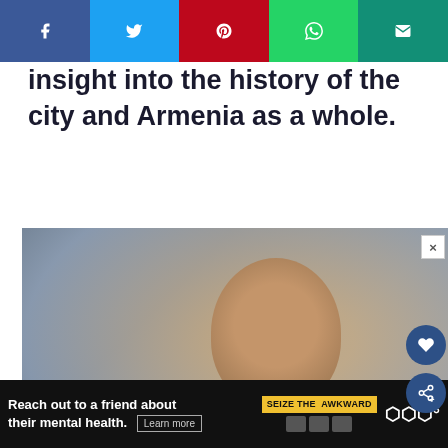[Figure (other): Social media share bar with Facebook (blue), Twitter (light blue), Pinterest (red), WhatsApp (green), Email (teal) buttons]
insight into the history of the city and Armenia as a whole.
[Figure (photo): Advertisement: 'No Kid Hungry' charity ad showing a young boy eating, with text 'You can help hungry kids.' and a 'LEARN HOW' button on an orange bar with the No Kid Hungry logo.]
[Figure (other): Bottom banner ad: 'Reach out to a friend about their mental health. Learn more' with Seize The Awkward branding and media logos]